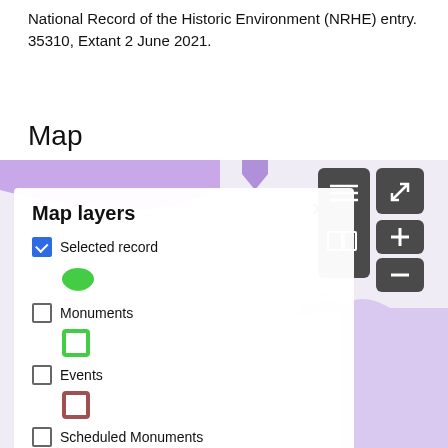National Record of the Historic Environment (NRHE) entry. 35310, Extant 2 June 2021.
Map
[Figure (screenshot): Interactive map screenshot showing a map layers panel with options: Selected record (checked, green dot icon), Monuments (unchecked, green square icon), Events (unchecked, brown square icon), Scheduled Monuments (unchecked, red square icon), Listed Buildings (unchecked, blue star icon), Principal Archaeological Landscapes (checked, purple square icon). Map controls visible on right with list, expand, plus and minus buttons. Purple decorative swoosh and panel visible on right side.]